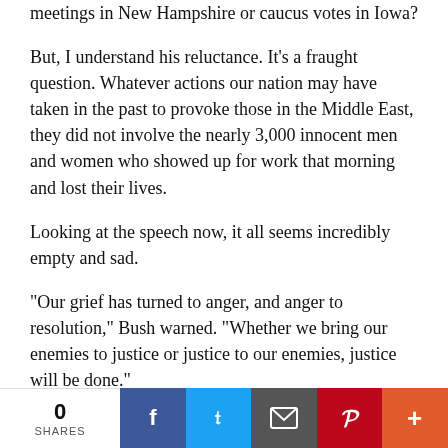meetings in New Hampshire or caucus votes in Iowa?
But, I understand his reluctance. It’s a fraught question. Whatever actions our nation may have taken in the past to provoke those in the Middle East, they did not involve the nearly 3,000 innocent men and women who showed up for work that morning and lost their lives.
Looking at the speech now, it all seems incredibly empty and sad.
“Our grief has turned to anger, and anger to resolution,” Bush warned. “Whether we bring our enemies to justice or justice to our enemies, justice will be done.”
We did kill bin Laden 10 years later. But I’m not sure how we could ever bring justice to suicide bombers. Whatever justice they receive will come from a higher power.
In the speech, Bush laid out a series of demands that he knew the Taliban could not meet as a pretext to going to
0 SHARES | Facebook | Twitter | Email | Pinterest | More